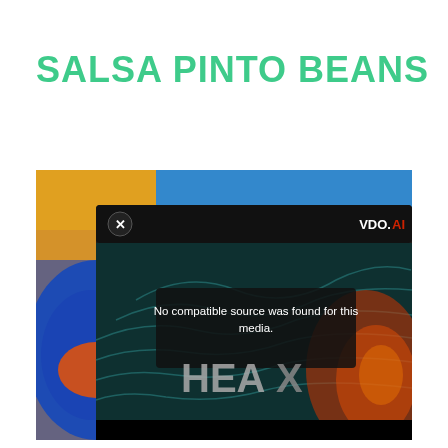SALSA PINTO BEANS
[Figure (screenshot): A screenshot of a video player overlay with a dark dialog box displaying the message 'No compatible source was found for this media.' The player shows a VDO.AI logo in the upper right, a close (x) button in the upper left, and beneath the dialog is a dark teal/red heatmap background with large text reading 'HEA X'. Behind the video player is a partially visible food image with colorful dishes.]